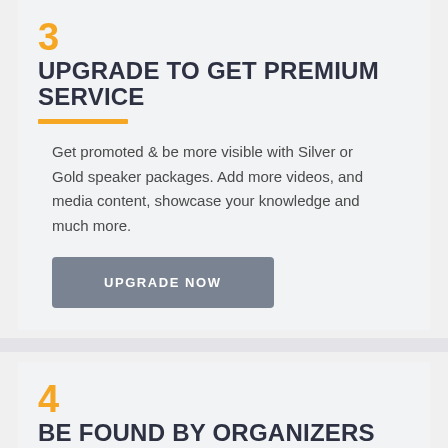3
UPGRADE TO GET PREMIUM SERVICE
Get promoted & be more visible with Silver or Gold speaker packages. Add more videos, and media content, showcase your knowledge and much more.
UPGRADE NOW
4
BE FOUND BY ORGANIZERS
Organizers can invite you to their events and they can also discover you on the hub.